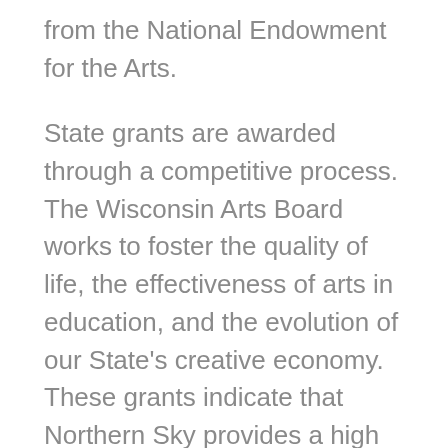from the National Endowment for the Arts.
State grants are awarded through a competitive process. The Wisconsin Arts Board works to foster the quality of life, the effectiveness of arts in education, and the evolution of our State's creative economy. These grants indicate that Northern Sky provides a high level of quality in its programs, community outreach and administration and is a mainstay of the tourism economy in Door County.
In April, the Wisconsin Arts Board created an emergency relief program for Wisconsin nonprofit arts organizations that canceled